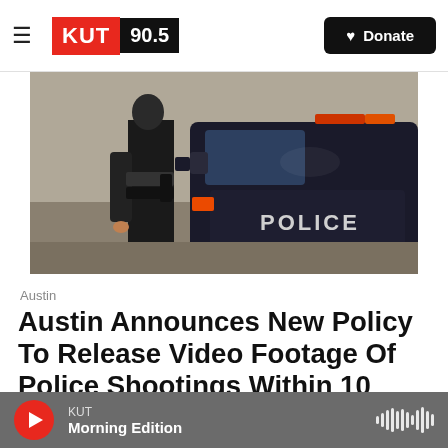KUT 90.5 | Donate
[Figure (photo): Police officer standing next to a police vehicle with POLICE text on the side door, dark SUV, emergency lights visible]
Austin
Austin Announces New Policy To Release Video Footage Of Police Shootings Within 10 Business Days
Audrey McGlinchy · July 22, 2021
KUT Morning Edition